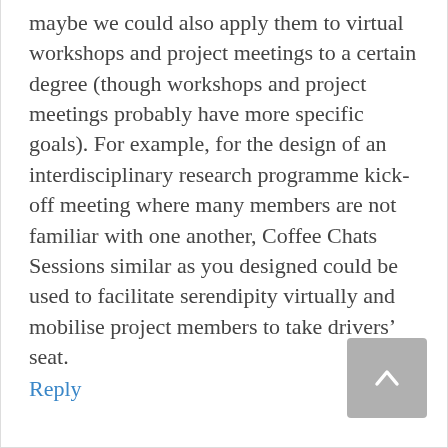maybe we could also apply them to virtual workshops and project meetings to a certain degree (though workshops and project meetings probably have more specific goals). For example, for the design of an interdisciplinary research programme kick-off meeting where many members are not familiar with one another, Coffee Chats Sessions similar as you designed could be used to facilitate serendipity virtually and mobilise project members to take drivers’ seat.
Reply